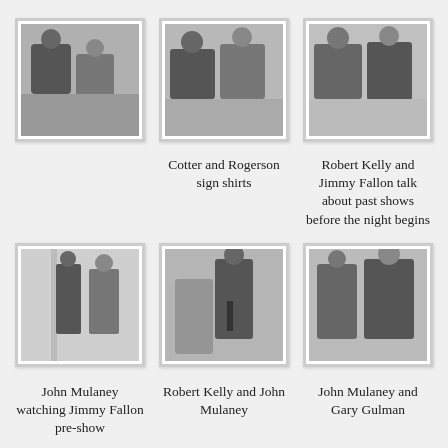[Figure (photo): Black and white photo of two people, one bald man and another person, backstage]
[Figure (photo): Black and white photo of two people signing shirts]
Cotter and Rogerson sign shirts
[Figure (photo): Black and white photo of Robert Kelly and Jimmy Fallon talking]
Robert Kelly and Jimmy Fallon talk about past shows before the night begins
[Figure (photo): Black and white photo of John Mulaney watching Jimmy Fallon pre-show in a corridor]
John Mulaney watching Jimmy Fallon pre-show
[Figure (photo): Black and white photo of Robert Kelly and John Mulaney]
Robert Kelly and John Mulaney
[Figure (photo): Black and white photo of John Mulaney and Gary Gulman]
John Mulaney and Gary Gulman